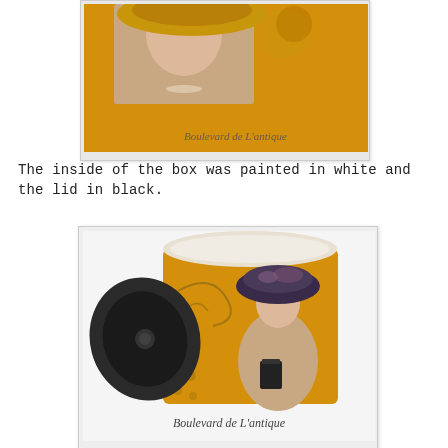[Figure (photo): Top portion of a decorated cylindrical box/container with a vintage woman image on an orange/yellow background, with text 'Boulevard de L'antique' watermark]
The inside of the box was painted in white and the lid in black.
[Figure (photo): A decorated cylindrical container with a vintage woman wearing a large hat printed on an orange/yellow background, with a black lid leaning against it. Text 'Boulevard de L'antique' appears at the bottom.]